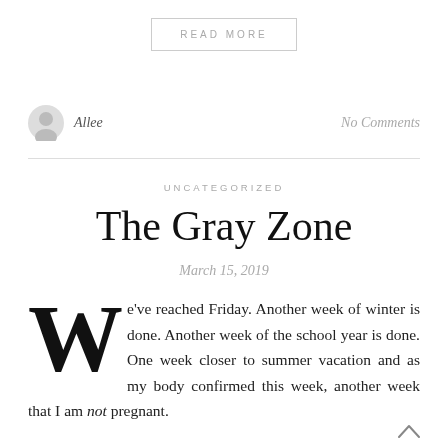READ MORE
Allee
No Comments
UNCATEGORIZED
The Gray Zone
March 15, 2019
We've reached Friday. Another week of winter is done. Another week of the school year is done. One week closer to summer vacation and as my body confirmed this week, another week that I am not pregnant.